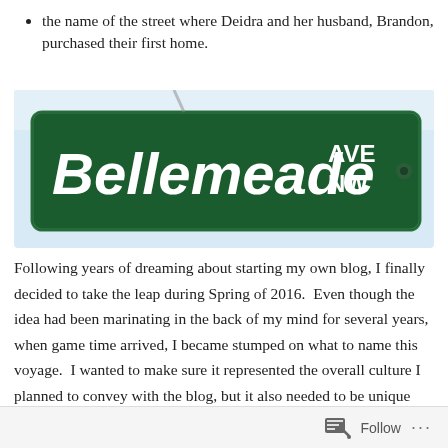the name of the street where Deidra and her husband, Brandon, purchased their first home.
[Figure (photo): A green street sign reading 'Bellemeade AVE NW' photographed against a light sky background.]
Following years of dreaming about starting my own blog, I finally decided to take the leap during Spring of 2016.  Even though the idea had been marinating in the back of my mind for several years, when game time arrived, I became stumped on what to name this voyage.  I wanted to make sure it represented the overall culture I planned to convey with the blog, but it also needed to be unique and memorable.
Follow